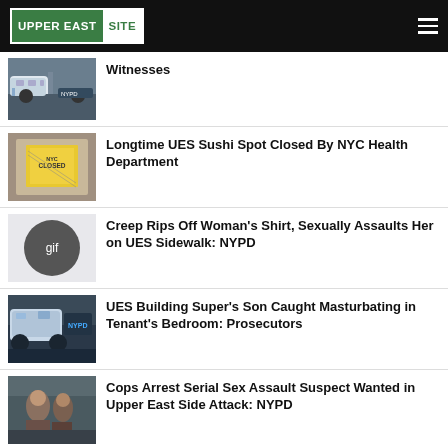[Figure (logo): Upper East Site logo - green and white street sign style]
Witnesses
[Figure (photo): NYPD police car on street]
Longtime UES Sushi Spot Closed By NYC Health Department
[Figure (photo): NYC closed sign in yellow on glass door]
Creep Rips Off Woman's Shirt, Sexually Assaults Her on UES Sidewalk: NYPD
[Figure (other): GIF placeholder circle]
UES Building Super's Son Caught Masturbating in Tenant's Bedroom: Prosecutors
[Figure (photo): NYPD police car]
Cops Arrest Serial Sex Assault Suspect Wanted in Upper East Side Attack: NYPD
[Figure (photo): People on street, arrest scene]